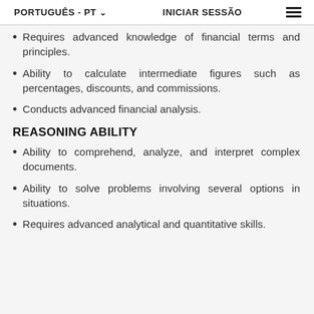PORTUGUÊS - PT  INICIAR SESSÃO
Requires advanced knowledge of financial terms and principles.
Ability to calculate intermediate figures such as percentages, discounts, and commissions.
Conducts advanced financial analysis.
REASONING ABILITY
Ability to comprehend, analyze, and interpret complex documents.
Ability to solve problems involving several options in situations.
Requires advanced analytical and quantitative skills.